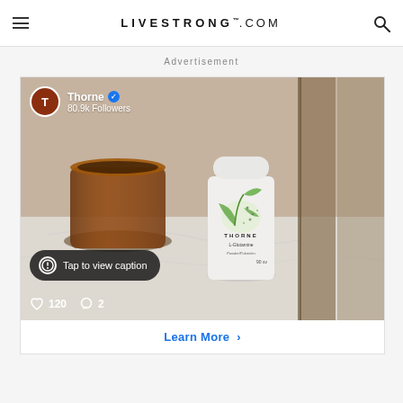LIVESTRONG.COM
Advertisement
[Figure (screenshot): Instagram-style advertisement showing a Thorne L-Glutamine supplement bottle next to an amber glass jar on a marble surface. Profile shows 'Thorne' with verified badge and '80.9k Followers'. Engagement shows 120 likes and 2 comments. Caption pill reads 'Tap to view caption'. Bottom link shows 'Learn More ›'.]